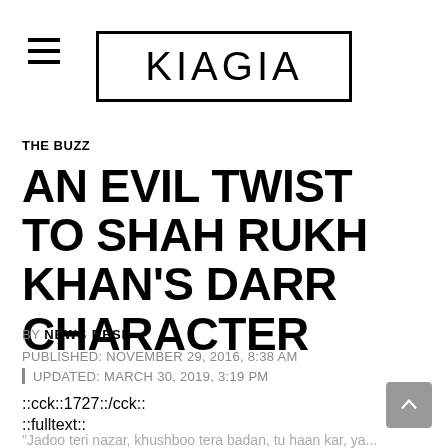KIAGIA
THE BUZZ
AN EVIL TWIST TO SHAH RUKH KHAN'S DARR CHARACTER
BY NEWS DESK
PUBLISHED: NOVEMBER 29, 2016, 8:38 AM
| UPDATED: MARCH 30, 2019, 3:19 PM
::cck::1727::/cck::
::fulltext::
"Jadoo teri nazar, khushboo tera badan, tu haan kar, ya...